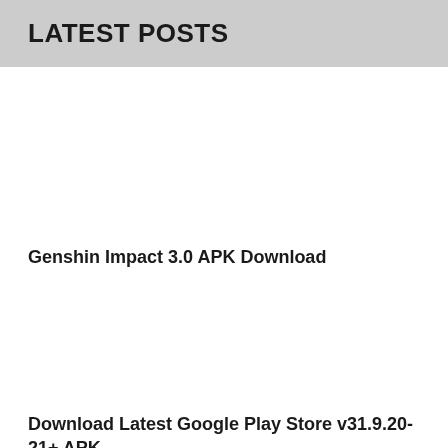LATEST POSTS
Genshin Impact 3.0 APK Download
Download Latest Google Play Store v31.9.20-21+ APK